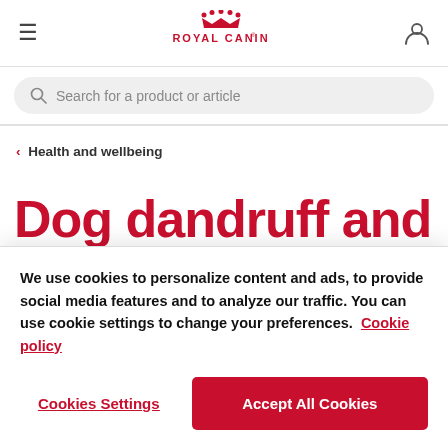[Figure (logo): Royal Canin logo with red crown icon and ROYAL CANIN text in red]
Search for a product or article
‹ Health and wellbeing
Dog dandruff and dry
We use cookies to personalize content and ads, to provide social media features and to analyze our traffic. You can use cookie settings to change your preferences. Cookie policy
Cookies Settings
Accept All Cookies